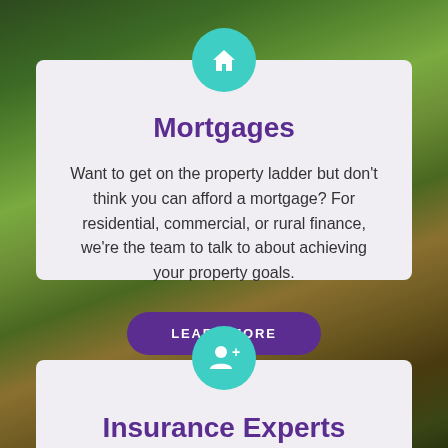[Figure (illustration): Background nature/forest scene with green and golden tones]
[Figure (illustration): Teal circle icon with white house symbol for Mortgages card]
Mortgages
Want to get on the property ladder but don't think you can afford a mortgage? For residential, commercial, or rural finance, we're the team to talk to about achieving your property goals.
LEARN MORE
[Figure (illustration): Teal circle icon with white person/add user symbol for Insurance Experts card]
Insurance Experts